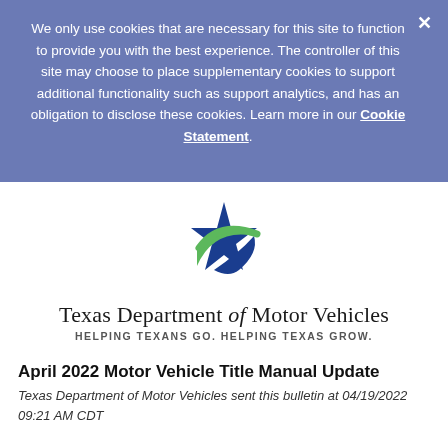We only use cookies that are necessary for this site to function to provide you with the best experience. The controller of this site may choose to place supplementary cookies to support additional functionality such as support analytics, and has an obligation to disclose these cookies. Learn more in our Cookie Statement.
[Figure (logo): Texas Department of Motor Vehicles logo: blue and green star with swoosh design]
Texas Department of Motor Vehicles HELPING TEXANS GO. HELPING TEXAS GROW.
April 2022 Motor Vehicle Title Manual Update
Texas Department of Motor Vehicles sent this bulletin at 04/19/2022 09:21 AM CDT